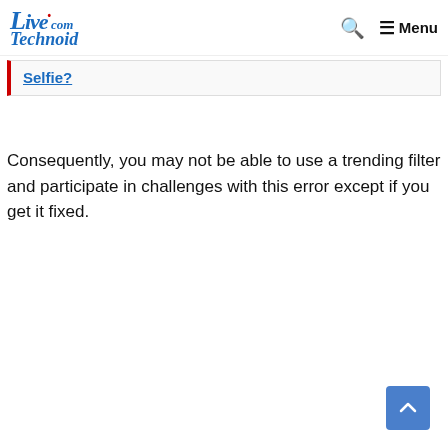LiveTechnoid.com — Menu
Selfie?
Consequently, you may not be able to use a trending filter and participate in challenges with this error except if you get it fixed.